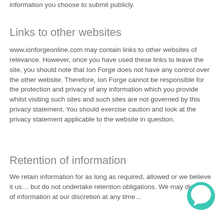information you choose to submit publicly.
Links to other websites
www.ionforgeonline.com may contain links to other websites of relevance. However, once you have used these links to leave the site, you should note that Ion Forge does not have any control over the other website. Therefore, Ion Forge cannot be responsible for the protection and privacy of any information which you provide whilst visiting such sites and such sites are not governed by this privacy statement. You should exercise caution and look at the privacy statement applicable to the website in question.
Retention of information
We retain information for as long as required, allowed or we believe it us… but do not undertake retention obligations. We may dispose of information at our discretion at any time…